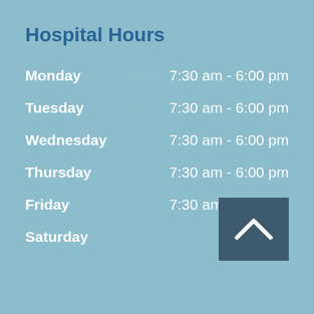Hospital Hours
Monday  7:30 am - 6:00 pm
Tuesday  7:30 am - 6:00 pm
Wednesday  7:30 am - 6:00 pm
Thursday  7:30 am - 6:00 pm
Friday  7:30 am - 6:00 pm
Saturday  Closed